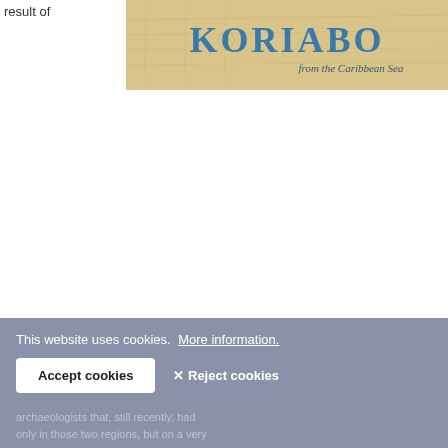result of
[Figure (illustration): Book cover image for 'KORIABO from the Caribbean Sea' with a beige/tan map background and blue serif text logo.]
This website uses cookies. More information.
Accept cookies
✕ Reject cookies
archaeologists that, still recently, had ... only in those two regions, but on a very